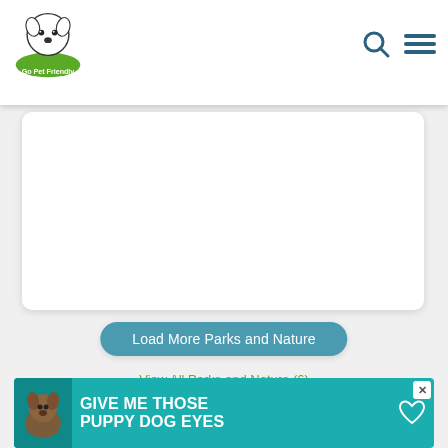Go Pet Friendly - navigation header with logo, search icon, and menu icon
[Figure (screenshot): White card placeholder area (partial content card)]
Load More Parks and Nature
View All Parks and Nature (6)
Shopping
[Figure (screenshot): Partial shopping listing card with number 1, heart/share icons, and advertisement banner reading GIVE ME THOSE PUPPY DOG EYES]
[Figure (advertisement): Ad banner: GIVE ME THOSE PUPPY DOG EYES with dog image]